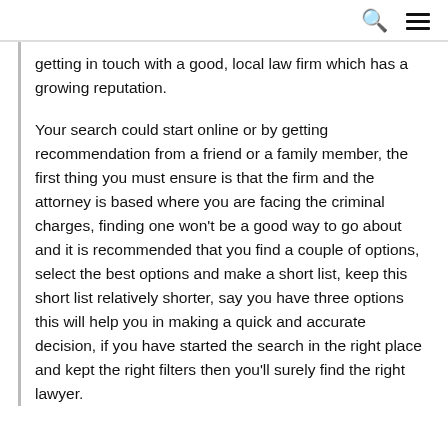getting in touch with a good, local law firm which has a growing reputation.
Your search could start online or by getting recommendation from a friend or a family member, the first thing you must ensure is that the firm and the attorney is based where you are facing the criminal charges, finding one won't be a good way to go about and it is recommended that you find a couple of options, select the best options and make a short list, keep this short list relatively shorter, say you have three options this will help you in making a quick and accurate decision, if you have started the search in the right place and kept the right filters then you'll surely find the right lawyer.